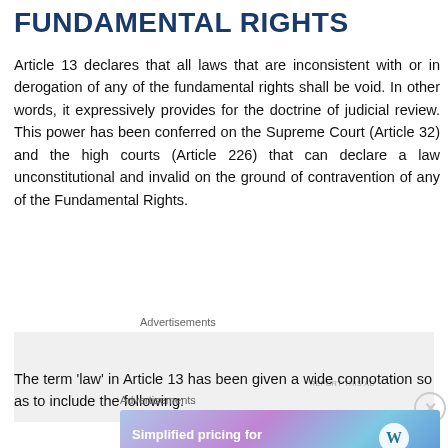FUNDAMENTAL RIGHTS
Article 13 declares that all laws that are inconsistent with or in derogation of any of the fundamental rights shall be void. In other words, it expressively provides for the doctrine of judicial review. This power has been conferred on the Supreme Court (Article 32) and the high courts (Article 226) that can declare a law unconstitutional and invalid on the ground of contravention of any of the Fundamental Rights.
Advertisements
The term 'law' in Article 13 has been given a wide connotation so as to include the following:
Advertisements
[Figure (other): WordPress.com advertisement banner: 'Simplified pricing for everything you need.' with WordPress.com logo]